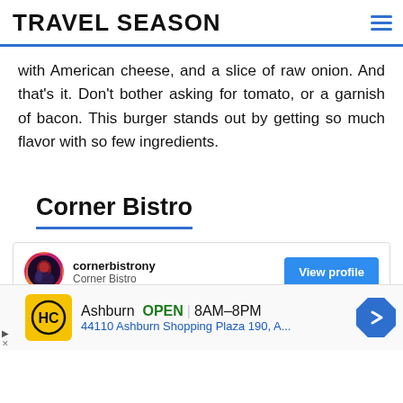TRAVEL SEASON
with American cheese, and a slice of raw onion. And that's it. Don't bother asking for tomato, or a garnish of bacon. This burger stands out by getting so much flavor with so few ingredients.
Corner Bistro
[Figure (screenshot): Instagram embed card showing cornerbistrony / Corner Bistro with a View profile button and a dark photo preview below]
[Figure (screenshot): Advertisement bar: HC logo, Ashburn OPEN 8AM-8PM, 44110 Ashburn Shopping Plaza 190, A... with navigation arrow icon]